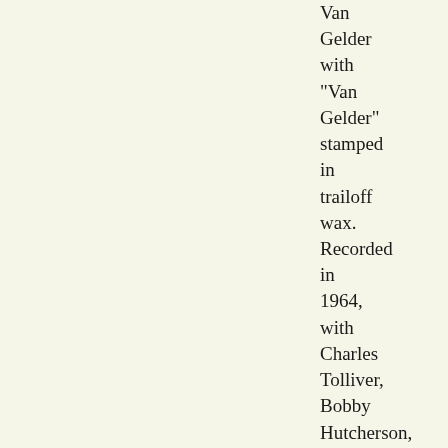Van Gelder with "Van Gelder" stamped in trailoff wax. Recorded in 1964, with Charles Tolliver, Bobby Hutcherson, Cecil McBee, Billy Higgins. Track list: Action, Plight,